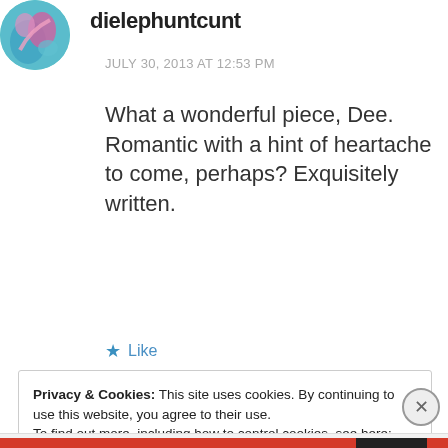[Figure (illustration): Circular avatar with colorful illustration — teal, pink, and blue tones]
dielephantcunt
JULY 30, 2013 AT 12:53 PM
What a wonderful piece, Dee. Romantic with a hint of heartache to come, perhaps? Exquisitely written.
★ Like
Privacy & Cookies: This site uses cookies. By continuing to use this website, you agree to their use. To find out more, including how to control cookies, see here: Cookie Policy
Close and accept